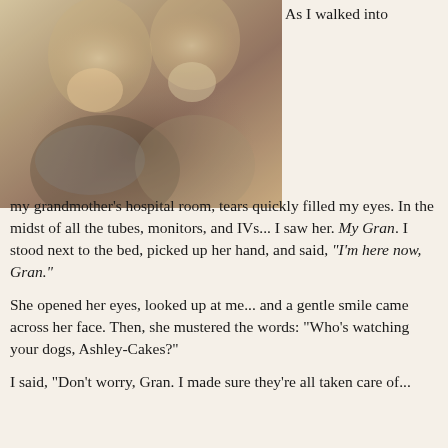[Figure (photo): Sepia-toned photo of two smiling women, one older and one younger, posing together closely. The photo has a vintage/warm tone.]
As I walked into my grandmother's hospital room, tears quickly filled my eyes. In the midst of all the tubes, monitors, and IVs... I saw her. My Gran. I stood next to the bed, picked up her hand, and said, "I'm here now, Gran."
She opened her eyes, looked up at me... and a gentle smile came across her face. Then, she mustered the words: "Who's watching your dogs, Ashley-Cakes?"
I said, "Don't worry, Gran. I made sure they're all taken care of...